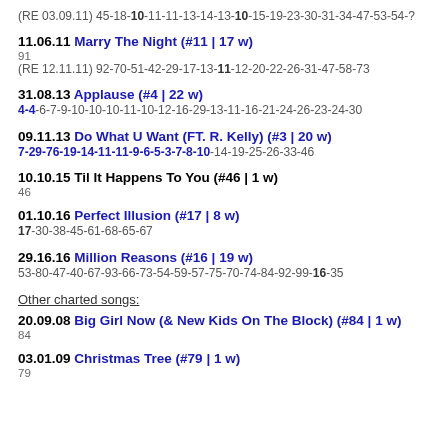(RE 03.09.11) 45-18-10-11-11-13-14-13-10-15-19-23-30-31-34-47-53-54-?
11.06.11 Marry The Night (#11 | 17 w)
91
(RE 12.11.11) 92-70-51-42-29-17-13-11-12-20-22-26-31-47-58-73
31.08.13 Applause (#4 | 22 w)
4-4-6-7-9-10-10-10-11-10-12-16-29-13-11-16-21-24-26-23-24-30
09.11.13 Do What U Want (FT. R. Kelly) (#3 | 20 w)
7-29-76-19-14-11-11-9-6-5-3-7-8-10-14-19-25-26-33-46
10.10.15 Til It Happens To You (#46 | 1 w)
46
01.10.16 Perfect Illusion (#17 | 8 w)
17-30-38-45-61-68-65-67
29.16.16 Million Reasons (#16 | 19 w)
53-80-47-40-67-93-66-73-54-59-57-75-70-74-84-92-99-16-35
Other charted songs:
20.09.08 Big Girl Now (& New Kids On The Block) (#84 | 1 w)
84
03.01.09 Christmas Tree (#79 | 1 w)
79